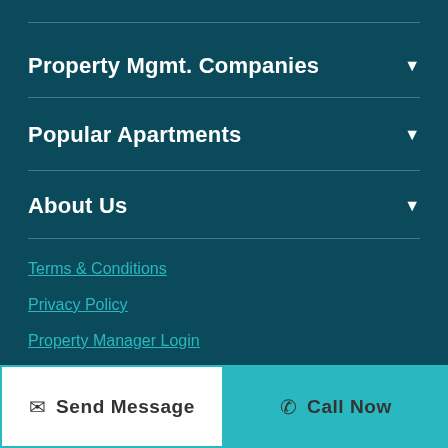Property Mgmt. Companies
Popular Apartments
About Us
Terms & Conditions
Privacy Policy
Property Manager Login
List Your Properties
Send Message
Call Now